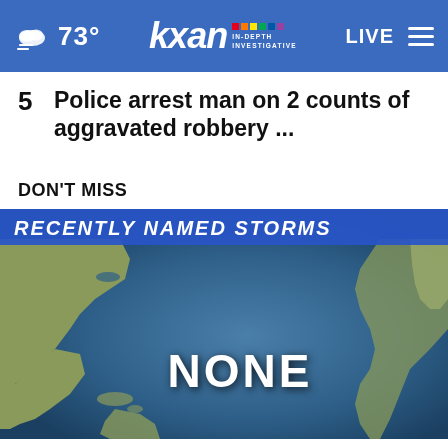73° | KXAN IN-DEPTH INVESTIGATIVE | LIVE
5  Police arrest man on 2 counts of aggravated robbery ...
DON'T MISS
[Figure (map): Atlantic Ocean map with blue banner reading 'RECENTLY NAMED STORMS' and centered text 'NONE' indicating no named storms currently active.]